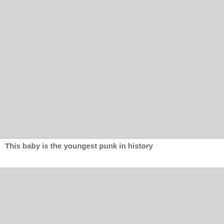[Figure (photo): Large light gray placeholder image at the top of the page]
This baby is the youngest punk in history
[Figure (photo): Light gray placeholder image at the bottom of the page with a back-to-top button overlaid in the top-right corner]